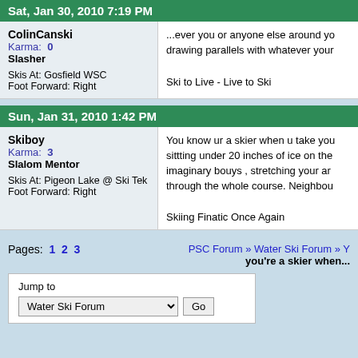Sat, Jan 30, 2010 7:19 PM
| User Info | Post Content |
| --- | --- |
| ColinCanski
Karma: 0
Slasher
Skis At: Gosfield WSC
Foot Forward: Right | ...ever you or anyone else around yo drawing parallels with whatever your

Ski to Live - Live to Ski |
Sun, Jan 31, 2010 1:42 PM
| User Info | Post Content |
| --- | --- |
| Skiboy
Karma: 3
Slalom Mentor
Skis At: Pigeon Lake @ Ski Tek
Foot Forward: Right | You know ur a skier when u take you sittting under 20 inches of ice on the imaginary bouys , stretching your ar through the whole course. Neighbou

Skiing Finatic Once Again |
Pages: 1 2 3    PSC Forum » Water Ski Forum » you're a skier when...
Jump to
Water Ski Forum   Go